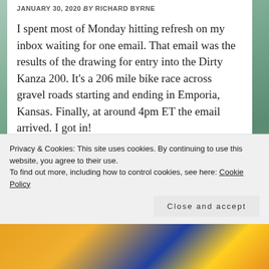JANUARY 30, 2020 By RICHARD BYRNE
I spent most of Monday hitting refresh on my inbox waiting for one email. That email was the results of the drawing for entry into the Dirty Kanza 200. It’s a 206 mile bike race across gravel roads starting and ending in Emporia, Kansas. Finally, at around 4pm ET the email arrived. I got in!
[Figure (screenshot): Partial screenshot of an email or website interface with a help/question mark icon in the upper right corner]
Privacy & Cookies: This site uses cookies. By continuing to use this website, you agree to their use.
To find out more, including how to control cookies, see here: Cookie Policy
[Figure (photo): Bottom strip showing a colorful outdoor/cycling related photo]